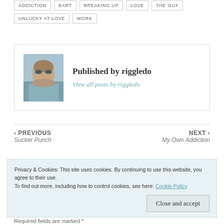ADDICTION
BART
BREAKING UP
LOVE
THE GUY
UNLUCKY AT LOVE
WORK
[Figure (photo): Author photo of riggledo, a bald man with sunglasses outdoors]
Published by riggledo
View all posts by riggledo
‹ PREVIOUS
Sucker Punch
NEXT ›
My Own Addiction
Privacy & Cookies: This site uses cookies. By continuing to use this website, you agree to their use.
To find out more, including how to control cookies, see here: Cookie Policy
Close and accept
Required fields are marked *